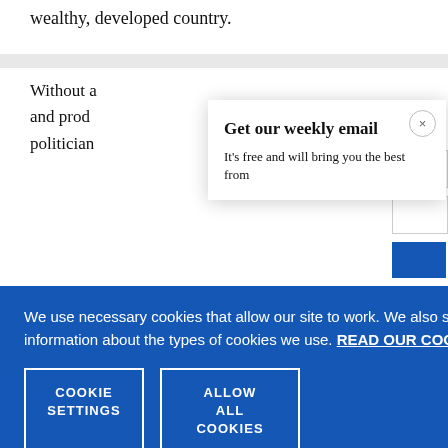wealthy, developed country.
Without a and prod politician
[Figure (screenshot): Email newsletter signup popup with title 'Get our weekly email' and subtitle 'It’s free and will bring you the best from', with a close (x) button]
We use necessary cookies that allow our site to work. We also set optional cookies that help us improve our website. For more information about the types of cookies we use. READ OUR COOKIES POLICY HERE
COOKIE SETTINGS
ALLOW ALL COOKIES
data.
have exce